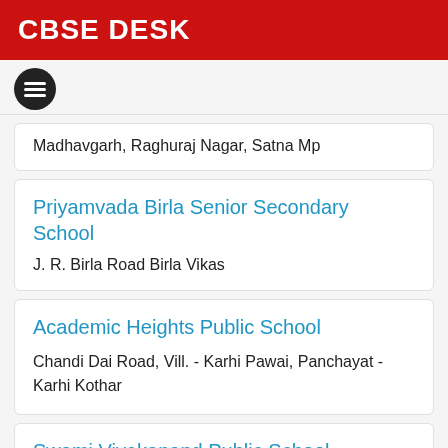CBSE DESK
[Figure (other): Hamburger menu icon - three horizontal lines inside a dark circle]
Madhavgarh, Raghuraj Nagar, Satna Mp
Priyamvada Birla Senior Secondary School
J. R. Birla Road Birla Vikas
Academic Heights Public School
Chandi Dai Road, Vill. - Karhi Pawai, Panchayat - Karhi Kothar
Swami Vivekanand Public School